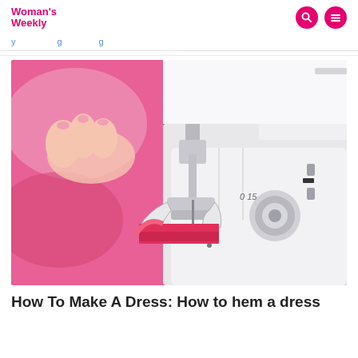Woman's Weekly
breadcrumb navigation links
[Figure (photo): Close-up photograph of a sewing machine needle and presser foot stitching red/pink fabric, with a person's hands guiding the fabric. The sewing machine plate is white with markings visible.]
How To Make A Dress: How to hem a dress